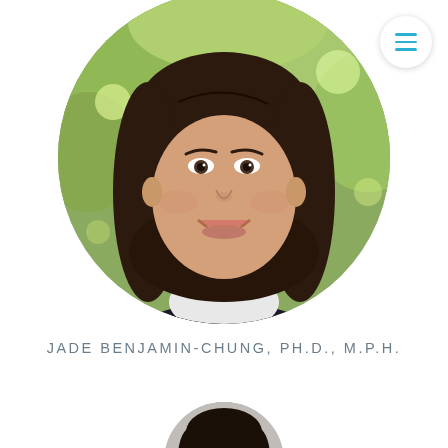[Figure (photo): Circular cropped headshot photo of a smiling woman with long dark brown hair, outdoors with green foliage background. Menu/hamburger icon button in top right corner.]
JADE BENJAMIN-CHUNG, PH.D., M.P.H.
[Figure (photo): Partial circular cropped headshot photo of a second person, partially visible at the bottom of the page.]